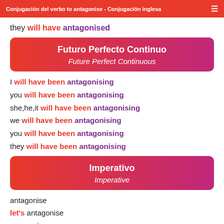Conjugación del verbo to antagonise - Conjugación inglesa
they will have antagonised
Futuro Perfecto Continuo / Future Perfect Continuous
I will have been antagonising
you will have been antagonising
she,he,it will have been antagonising
we will have been antagonising
you will have been antagonising
they will have been antagonising
Imperativo / Imperative
antagonise
let's antagonise
antagonise